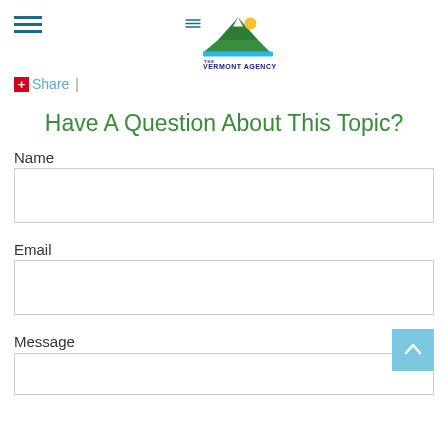[Figure (logo): The Vermont Agency logo with mountain and sun graphic, tagline: Your Financial Solutions Partner]
Share  |
Have A Question About This Topic?
Name
Email
Message